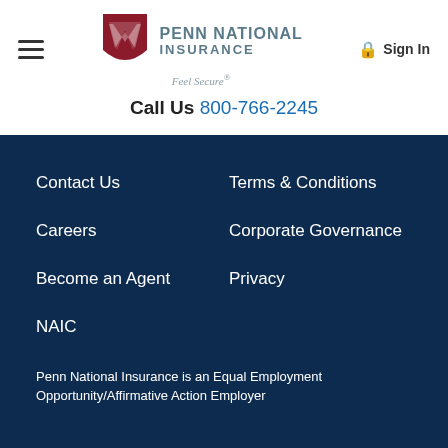Penn National Insurance — Feel Secure®
Call Us 800-766-2245
Contact Us
Terms & Conditions
Careers
Corporate Governance
Become an Agent
Privacy
NAIC
Penn National Insurance is an Equal Employment Opportunity/Affirmative Action Employer